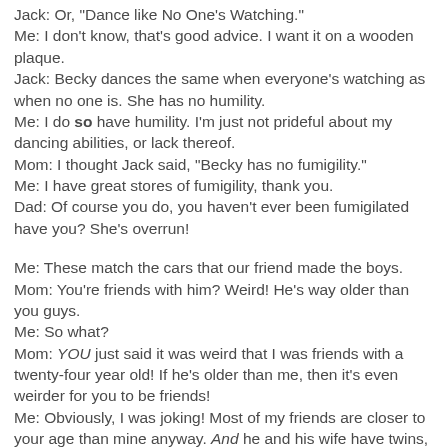Jack: Or, "Dance like No One's Watching."
Me: I don't know, that's good advice. I want it on a wooden plaque.
Jack: Becky dances the same when everyone's watching as when no one is. She has no humility.
Me: I do so have humility. I'm just not prideful about my dancing abilities, or lack thereof.
Mom: I thought Jack said, "Becky has no fumigility."
Me: I have great stores of fumigility, thank you.
Dad: Of course you do, you haven't ever been fumigilated have you? She's overrun!

Me: These match the cars that our friend made the boys.
Mom: You're friends with him? Weird! He's way older than you guys.
Me: So what?
Mom: YOU just said it was weird that I was friends with a twenty-four year old! If he's older than me, then it's even weirder for you to be friends!
Me: Obviously, I was joking! Most of my friends are closer to your age than mine anyway. And he and his wife have twins, so